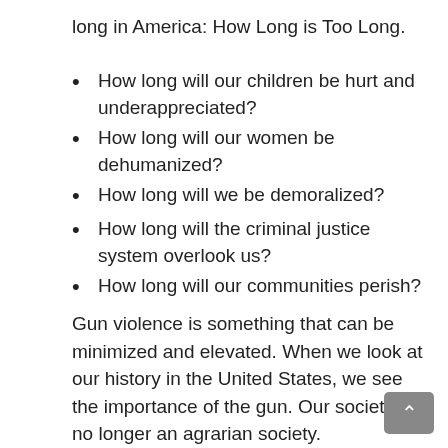long in America: How Long is Too Long.
How long will our children be hurt and underappreciated?
How long will our women be dehumanized?
How long will we be demoralized?
How long will the criminal justice system overlook us?
How long will our communities perish?
Gun violence is something that can be minimized and elevated. When we look at our history in the United States, we see the importance of the gun. Our society is no longer an agrarian society.